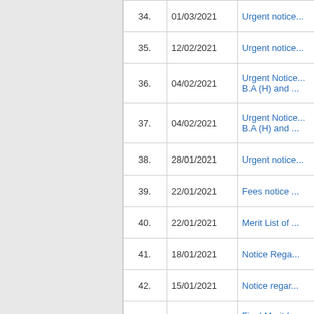| No. | Date | Title |
| --- | --- | --- |
| 34. | 01/03/2021 | Urgent notice... |
| 35. | 12/02/2021 | Urgent notice... |
| 36. | 04/02/2021 | Urgent Notice... B.A (H) and ... |
| 37. | 04/02/2021 | Urgent Notice... B.A (H) and ... |
| 38. | 28/01/2021 | Urgent notice... |
| 39. | 22/01/2021 | Fees notice ... |
| 40. | 22/01/2021 | Merit List of ... |
| 41. | 18/01/2021 | Notice Rega... |
| 42. | 15/01/2021 | Notice regar... |
| 43. | 08/01/2021 | Final Merit L... (Economics)... |
| 44. | 04/01/2021 | MOST URGI... RETURNS A... OF ORIGINA... (2020-21) |
| 45. | 01/01/2021 | Revised Noti... 2020-21) |
| 46. | 31/12/2020 | URGENT NO... |